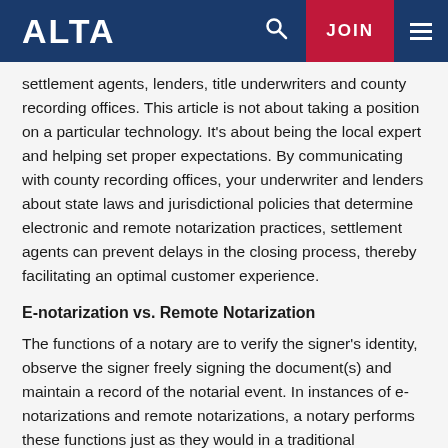ALTA | JOIN
settlement agents, lenders, title underwriters and county recording offices. This article is not about taking a position on a particular technology. It’s about being the local expert and helping set proper expectations. By communicating with county recording offices, your underwriter and lenders about state laws and jurisdictional policies that determine electronic and remote notarization practices, settlement agents can prevent delays in the closing process, thereby facilitating an optimal customer experience.
E-notarization vs. Remote Notarization
The functions of a notary are to verify the signer’s identity, observe the signer freely signing the document(s) and maintain a record of the notarial event. In instances of e-notarizations and remote notarizations, a notary performs these functions just as they would in a traditional notarization. These types of notarization only differ in methodology.
Very similar to traditional notarization, e-notarization